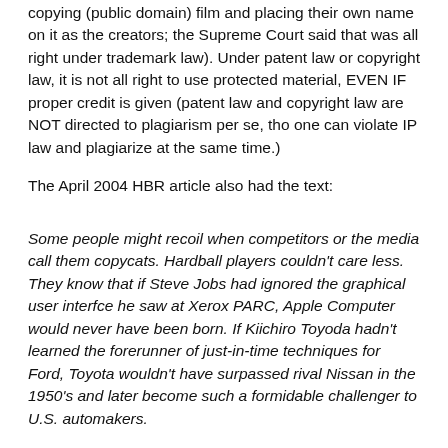copying (public domain) film and placing their own name on it as the creators; the Supreme Court said that was all right under trademark law). Under patent law or copyright law, it is not all right to use protected material, EVEN IF proper credit is given (patent law and copyright law are NOT directed to plagiarism per se, tho one can violate IP law and plagiarize at the same time.)
The April 2004 HBR article also had the text:
Some people might recoil when competitors or the media call them copycats. Hardball players couldn't care less. They know that if Steve Jobs had ignored the graphical user interfce he saw at Xerox PARC, Apple Computer would never have been born. If Kiichiro Toyoda hadn't learned the forerunner of just-in-time techniques for Ford, Toyota wouldn't have surpassed rival Nissan in the 1950's and later become such a formidable challenger to U.S. automakers.
This is a far different world from the plagiarism issues found at Ohio University, wherein academic officials reacted strongly to non-attributed remarks found in the background